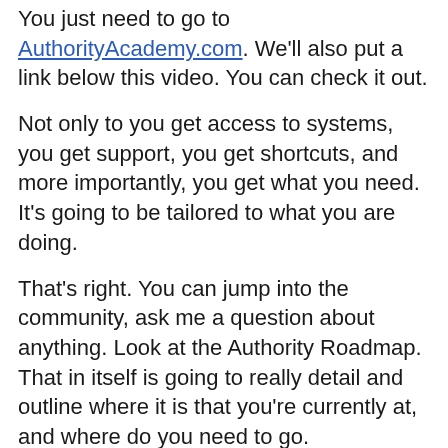You just need to go to AuthorityAcademy.com. We'll also put a link below this video. You can check it out.
Not only to you get access to systems, you get support, you get shortcuts, and more importantly, you get what you need. It's going to be tailored to what you are doing.
That's right. You can jump into the community, ask me a question about anything. Look at the Authority Roadmap. That in itself is going to really detail and outline where it is that you're currently at, and where do you need to go.
If any of that sounds remotely interesting, just check it out. There will be a link below.
Until then, I will see you in the next episode. Thank you.
http://authorityacademy...